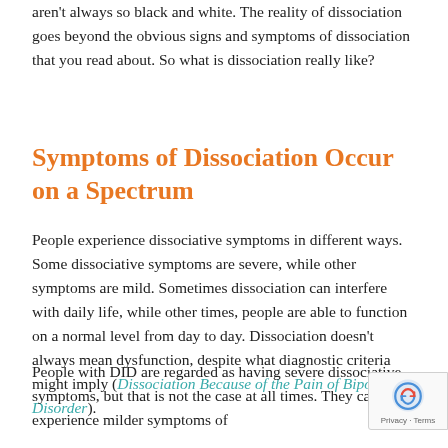aren't always so black and white. The reality of dissociation goes beyond the obvious signs and symptoms of dissociation that you read about. So what is dissociation really like?
Symptoms of Dissociation Occur on a Spectrum
People experience dissociative symptoms in different ways. Some dissociative symptoms are severe, while other symptoms are mild. Sometimes dissociation can interfere with daily life, while other times, people are able to function on a normal level from day to day. Dissociation doesn't always mean dysfunction, despite what diagnostic criteria might imply (Dissociation Because of the Pain of Bipolar Disorder).
People with DID are regarded as having severe dissociative symptoms, but that is not the case at all times. They can also experience milder symptoms of